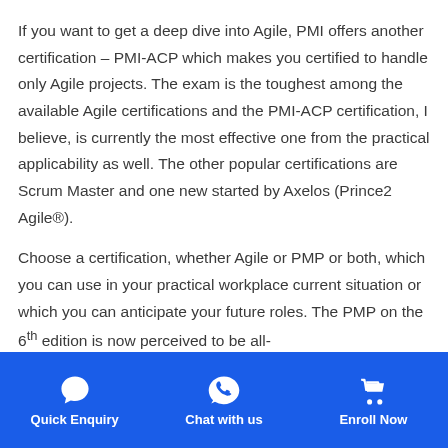If you want to get a deep dive into Agile, PMI offers another certification – PMI-ACP which makes you certified to handle only Agile projects. The exam is the toughest among the available Agile certifications and the PMI-ACP certification, I believe, is currently the most effective one from the practical applicability as well. The other popular certifications are Scrum Master and one new started by Axelos (Prince2 Agile®).
Choose a certification, whether Agile or PMP or both, which you can use in your practical workplace current situation or which you can anticipate your future roles. The PMP on the 6th edition is now perceived to be all-
Quick Enquiry   Chat with us   Enroll Now